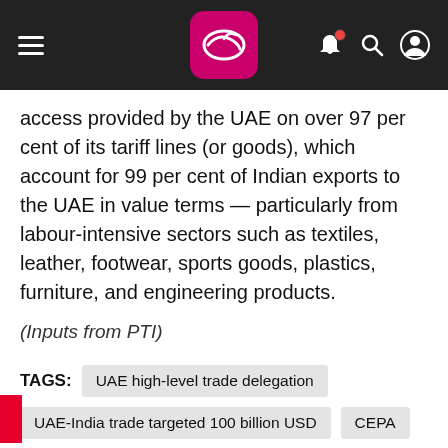Navigation header with hamburger menu, logo, bell icon, search icon, and user icon
access provided by the UAE on over 97 per cent of its tariff lines (or goods), which account for 99 per cent of Indian exports to the UAE in value terms — particularly from labour-intensive sectors such as textiles, leather, footwear, sports goods, plastics, furniture, and engineering products.
(Inputs from PTI)
TAGS: UAE high-level trade delegation | UAE-India trade targeted 100 billion USD | CEPA | visiting Delhi &Mumbai